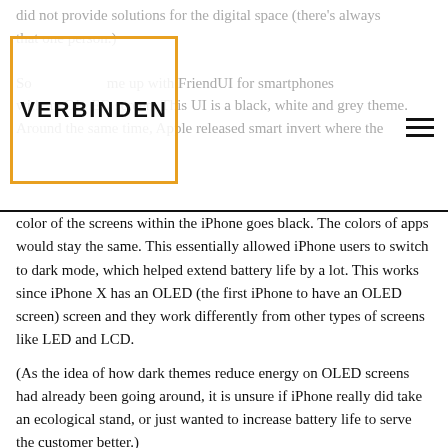VERBINDEN
did not provide solutions for the digital space (there's always that one person.) So me up with FriendUI for smartphones with an OLED screen. This UI is a black, white and grey theme. Around the same time, Apple released smart invert where the color of the screens within the iPhone goes black. The colors of apps would stay the same. This essentially allowed iPhone users to switch to dark mode, which helped extend battery life by a lot. This works since iPhone X has an OLED (the first iPhone to have an OLED screen) screen and they work differently from other types of screens like LED and LCD.
(As the idea of how dark themes reduce energy on OLED screens had already been going around, it is unsure if iPhone really did take an ecological stand, or just wanted to increase battery life to serve the customer better.)
WHAT'S SO GREAT ABOUT OLED, ANYWAY?
The science lies in the fact that LED and LCD have a constant stream of light, the backlight, passing through multiple screens, across the entire area of the screen, to display the